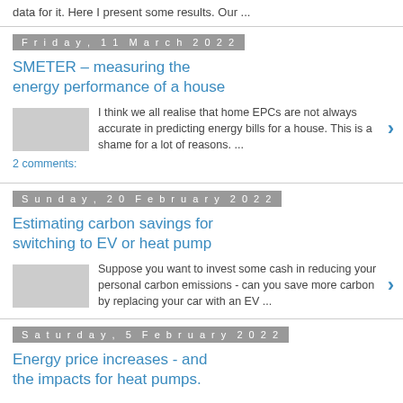data for it. Here I present some results. Our ...
Friday, 11 March 2022
SMETER – measuring the energy performance of a house
I think we all realise that home EPCs are not always accurate in predicting energy bills for a house. This is a shame for a lot of reasons. ...
2 comments:
Sunday, 20 February 2022
Estimating carbon savings for switching to EV or heat pump
Suppose you want to invest some cash in reducing your personal carbon emissions - can you save more carbon by replacing your car with an EV ...
Saturday, 5 February 2022
Energy price increases - and the impacts for heat pumps.